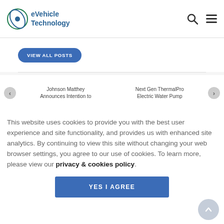eVehicle Technology
VIEW ALL POSTS
Johnson Matthey Announces Intention to
Next Gen ThermalPro Electric Water Pump
This website uses cookies to provide you with the best user experience and site functionality, and provides us with enhanced site analytics. By continuing to view this site without changing your web browser settings, you agree to our use of cookies. To learn more, please view our privacy & cookies policy.
YES I AGREE